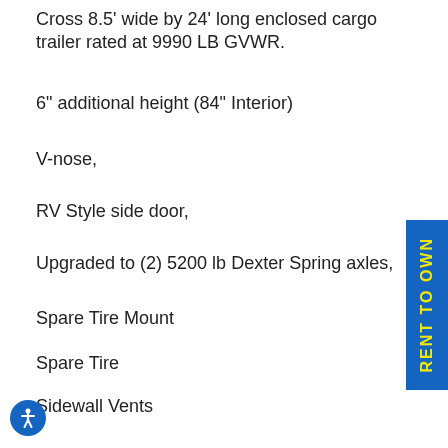Cross 8.5' wide by 24' long enclosed cargo trailer rated at 9990 LB GVWR.
6" additional height (84" Interior)
V-nose,
RV Style side door,
Upgraded to (2) 5200 lb Dexter Spring axles,
Spare Tire Mount
Spare Tire
Sidewall Vents
EZ Lube hubs,
Brakes on both axles,
or is 16" on center spacing,